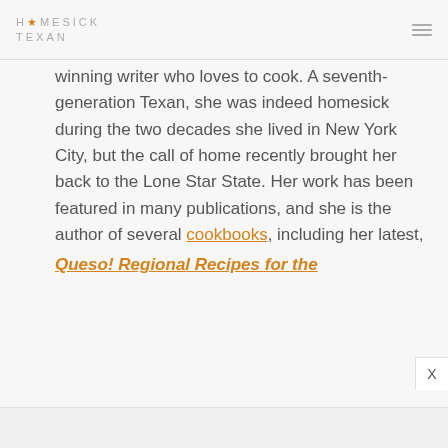HOMESICK TEXAN
winning writer who loves to cook. A seventh-generation Texan, she was indeed homesick during the two decades she lived in New York City, but the call of home recently brought her back to the Lone Star State. Her work has been featured in many publications, and she is the author of several cookbooks, including her latest,
Queso! Regional Recipes for the